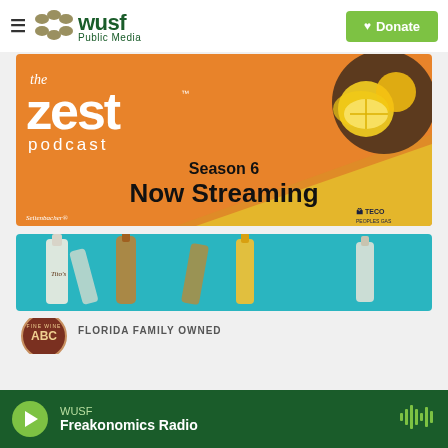WUSF Public Media | Donate
[Figure (illustration): The Zest Podcast Season 6 Now Streaming banner - orange and yellow background with circular lemon photo, sponsored by Seitenbacher and TECO Peoples Gas]
[Figure (photo): Spirits/liquor bottles including Tito's on teal background]
[Figure (logo): ABC Fine Wine logo partially visible, FLORIDA FAMILY OWNED text]
WUSF | Freakonomics Radio (player bar)